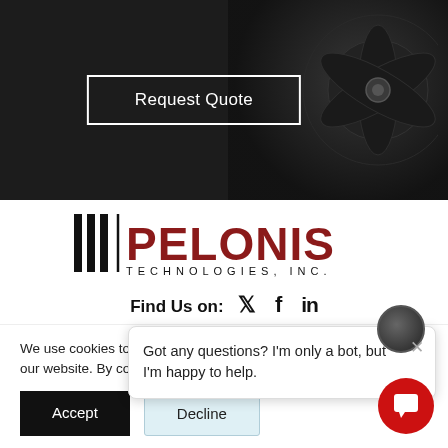[Figure (screenshot): Dark hero banner with 'Request Quote' button in white border outline, fan image visible on right side]
[Figure (logo): PTI Pelonis Technologies, Inc. logo — black vertical bars on left, red PELONIS text, black TECHNOLOGIES, INC. text below]
Find Us on: [Twitter] [Facebook] [LinkedIn]
Com[pany]
We use cookies to ensure that we give you the best experience on our website. By continuing, we assume that you accept such use.
Got any questions? I'm only a bot, but I'm happy to help.